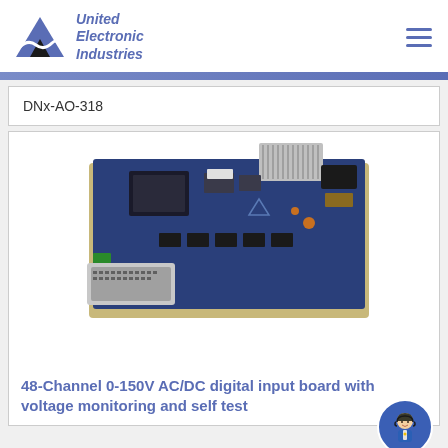[Figure (logo): United Electronic Industries logo with mountain/wave graphic in blue and black, company name in italic blue bold text]
DNx-AO-318
[Figure (photo): Blue PCB circuit board (DNx-AO-318) with gray ribbon connector, D-sub connector, and various electronic components on a beige PCB substrate, photographed at an angle]
48-Channel 0-150V AC/DC digital input board with voltage monitoring and self test